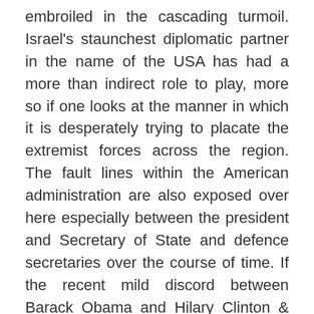embroiled in the cascading turmoil. Israel's staunchest diplomatic partner in the name of the USA has had a more than indirect role to play, more so if one looks at the manner in which it is desperately trying to placate the extremist forces across the region. The fault lines within the American administration are also exposed over here especially between the president and Secretary of State and defence secretaries over the course of time. If the recent mild discord between Barack Obama and Hilary Clinton & the open cold war between Obama and Netanyahu over the question of Iran is anything to go by, it will be interesting to see if it manages to build a cohesion amongst itself in the near future. The rise of the economic might of China in the region and the dangers of flexing